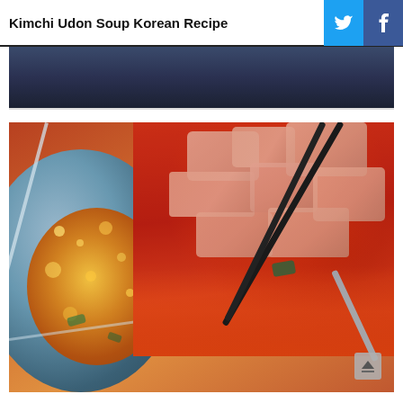Kimchi Udon Soup Korean Recipe
[Figure (photo): Close-up photo of kimchi udon soup being cooked — a glass container holding red/spicy kimchi with chopsticks picking some up, beside a bubbling pot of orange-tinted broth soup. The image shows the kimchi's red sauce spilling into the broth.]
[Figure (photo): Partially visible photo strip at the top of the page showing a dark background, likely a prior image in a gallery.]